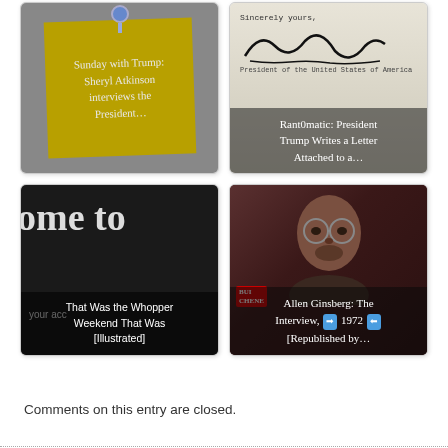[Figure (screenshot): Thumbnail card: sticky note image with text 'Sunday with Trump: Sheryl Atkinson interviews the President...']
[Figure (screenshot): Thumbnail card: letter with signature text 'Rant0matic: President Trump Writes a Letter Attached to a...']
[Figure (screenshot): Thumbnail card: dark sign text 'ome to' overlay, caption 'That Was the Whopper Weekend That Was [Illustrated]']
[Figure (photo): Thumbnail card: photo of Allen Ginsberg with text 'Allen Ginsberg: The Interview, 1972 [Republished by...]']
Comments on this entry are closed.